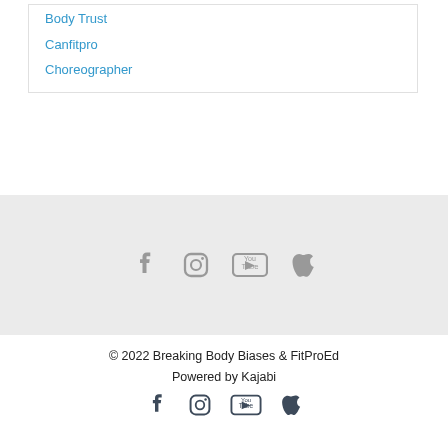Body Trust
Canfitpro
Choreographer
[Figure (infographic): Social media icons row (Facebook, Instagram, YouTube, Apple) in gray on light gray background]
© 2022 Breaking Body Biases & FitProEd
Powered by Kajabi
[Figure (infographic): Social media icons row (Facebook, Instagram, YouTube, Apple) in dark blue-gray]